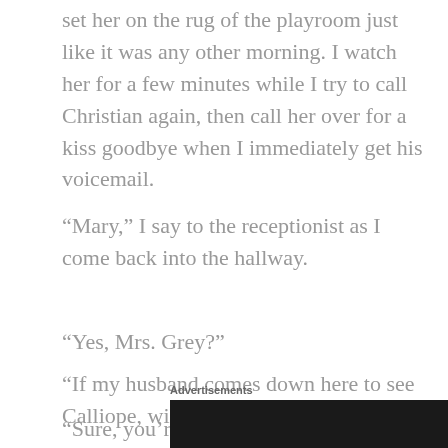set her on the rug of the playroom just like it was any other morning. I watch her for a few minutes while I try to call Christian again, then call her over for a kiss goodbye when I immediately get his voicemail.
“Mary,” I say to the receptionist as I come back into the hallway.
“Yes, Mrs. Grey?”
“If my husband comes down here to see Calliope, will you let me know?”
“Sure, you’re at Grey Publishing now, right?”
Advertisements